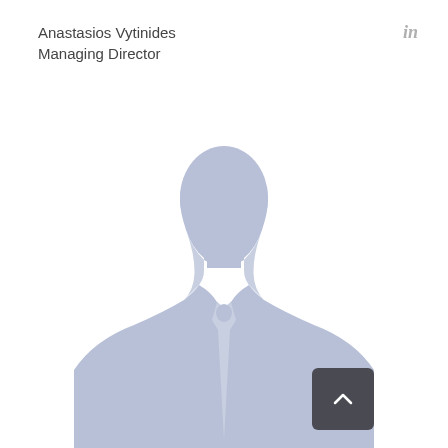Anastasios Vytinides
Managing Director
in
[Figure (illustration): Generic placeholder silhouette of a person in a business suit, light blue-grey color, no face details visible]